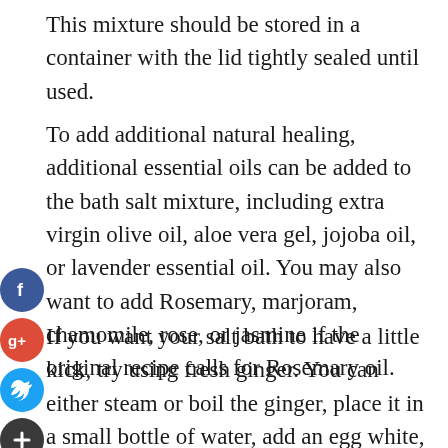This mixture should be stored in a container with the lid tightly sealed until used.
To add additional natural healing, additional essential oils can be added to the bath salt mixture, including extra virgin olive oil, aloe vera gel, jojoba oil, or lavender essential oil. You may also want to add Rosemary, marjoram, chamomile, rose, or jasmine if the original recipe calls for Rosemary oil.
[Figure (other): Social media sharing icons: Facebook (blue circle with f), Google+ (red circle with g+), Twitter (blue circle with bird icon), and a dark add/share button]
If you want your salt bath to have a little kick, try using fresh ginger. You can either steam or boil the ginger, place it in a small bottle of water, add an egg white, some drops of eucalyptus essential oil, and a few drops of